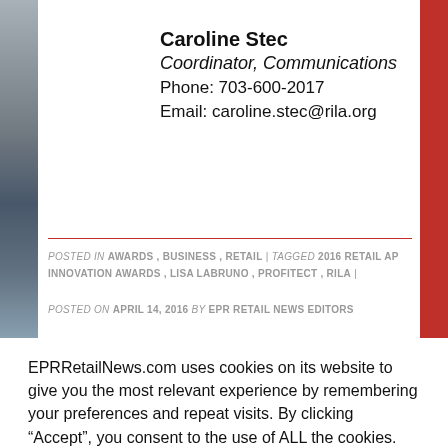Caroline Stec
Coordinator, Communications
Phone: 703-600-2017
Email: caroline.stec@rila.org
POSTED IN AWARDS , BUSINESS , RETAIL | TAGGED 2016 RETAIL AP INNOVATION AWARDS , LISA LABRUNO , PROFITECT , RILA |
POSTED ON APRIL 14, 2016 BY EPR RETAIL NEWS EDITORS
EPRRetailNews.com uses cookies on its website to give you the most relevant experience by remembering your preferences and repeat visits. By clicking “Accept”, you consent to the use of ALL the cookies.
Cookie settings
ACCEPT